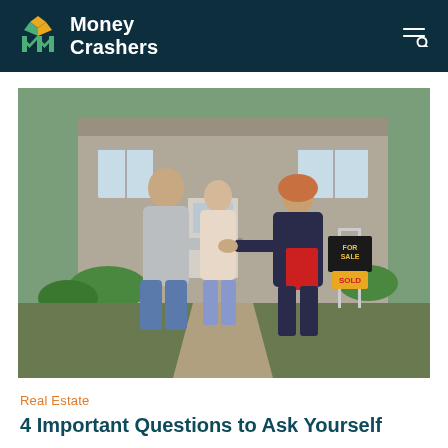Money Crashers
[Figure (photo): A couple shaking hands with a female real estate agent in front of a house with a FOR SALE SOLD sign]
Real Estate
4 Important Questions to Ask Yourself